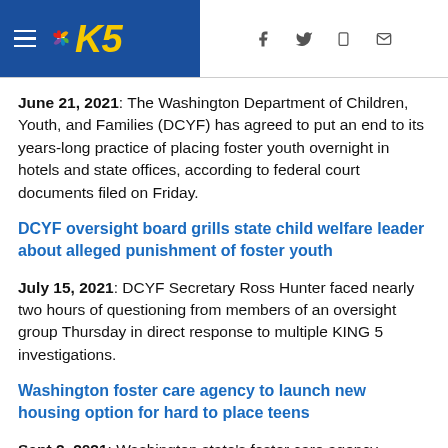KING 5 News — Navigation header with hamburger menu, KING 5 logo, and social/share icons (Facebook, Twitter, mobile, email)
June 21, 2021: The Washington Department of Children, Youth, and Families (DCYF) has agreed to put an end to its years-long practice of placing foster youth overnight in hotels and state offices, according to federal court documents filed on Friday.
DCYF oversight board grills state child welfare leader about alleged punishment of foster youth
July 15, 2021: DCYF Secretary Ross Hunter faced nearly two hours of questioning from members of an oversight group Thursday in direct response to multiple KING 5 investigations.
Washington foster care agency to launch new housing option for hard to place teens
Sept 2, 2021: Washington state's foster care agency introduced a six-page plan to carry out a federal court order